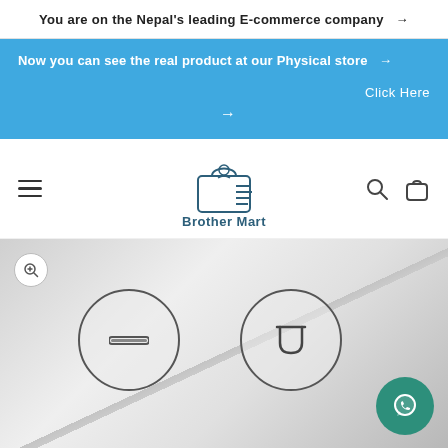You are on the Nepal's leading E-commerce company →
Now you can see the real product at our Physical store → Click Here →
[Figure (logo): Brother Mart logo with shopping bag figure and horizontal lines, text 'Brother Mart' below]
[Figure (photo): Product image (white device) with zoom button, two circular icons (minus/remove and U-shape), diagonal line element, and WhatsApp contact button]